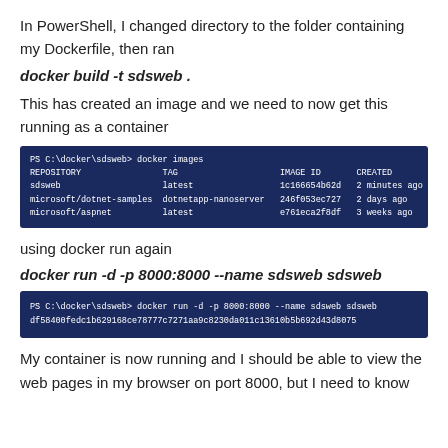In PowerShell, I changed directory to the folder containing my Dockerfile, then ran
docker build -t sdsweb .
This has created an image and we need to now get this running as a container
[Figure (screenshot): PowerShell terminal showing docker images command output with columns REPOSITORY, TAG, IMAGE ID, CREATED, SIZE listing sdsweb, microsoft/dotnet-samples, and microsoft/aspnet]
using docker run again
docker run -d -p 8000:8000 --name sdsweb sdsweb
[Figure (screenshot): PowerShell terminal showing docker run -d -p 8000:8000 --name sdsweb sdsweb command and its output hash df58400fedc1b629168ce78777c7271aa9c8230da011c13610b5b692d43d8075]
My container is now running and I should be able to view the web pages in my browser on port 8000, but I need to know